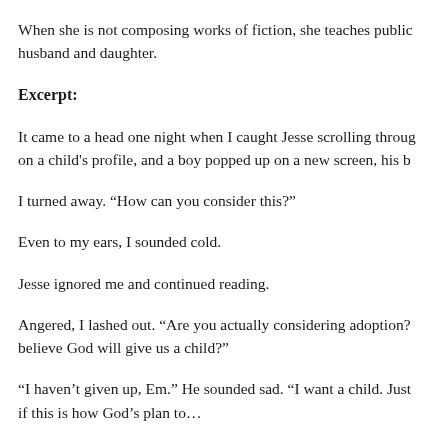When she is not composing works of fiction, she teaches public … husband and daughter.
Excerpt:
It came to a head one night when I caught Jesse scrolling through on a child's profile, and a boy popped up on a new screen, his b
I turned away. “How can you consider this?”
Even to my ears, I sounded cold.
Jesse ignored me and continued reading.
Angered, I lashed out. “Are you actually considering adoption? believe God will give us a child?”
“I haven’t given up, Em.” He sounded sad. “I want a child. Just if this is how God’s plan to…”